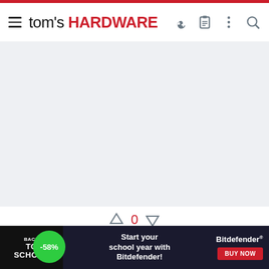tom's HARDWARE
[Figure (other): Gray advertisement placeholder area]
↑ 0 ↓
JokZzZz
Honorable
Sep 11, 2015  21  0  10,520  1
[Figure (other): Back to School advertisement banner with Bitdefender -58% discount]